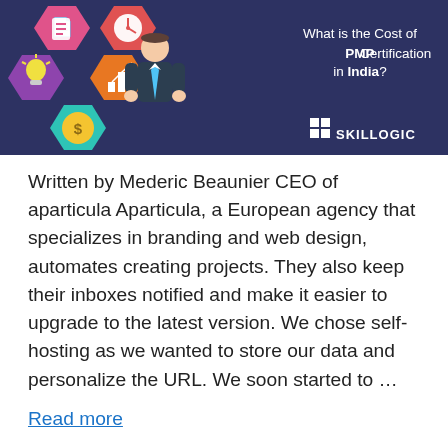[Figure (infographic): Banner image with dark blue/navy background, colorful hexagon icons on the left (document, clock, lightbulb, money bag, bar chart), a businessman figure in center, and text on the right: 'What is the Cost of PMP Certification in India?' with Skillogic logo bottom right.]
Written by Mederic Beaunier CEO of aparticula Aparticula, a European agency that specializes in branding and web design, automates creating projects. They also keep their inboxes notified and make it easier to upgrade to the latest version. We chose self-hosting as we wanted to store our data and personalize the URL. We soon started to ...
Read more